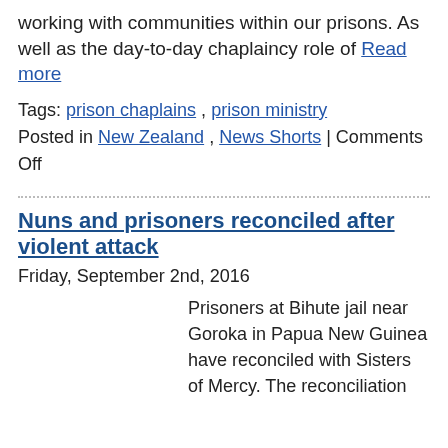working with communities within our prisons. As well as the day-to-day chaplaincy role of Read more
Tags: prison chaplains , prison ministry
Posted in New Zealand , News Shorts | Comments Off
Nuns and prisoners reconciled after violent attack
Friday, September 2nd, 2016
Prisoners at Bihute jail near Goroka in Papua New Guinea have reconciled with Sisters of Mercy. The reconciliation